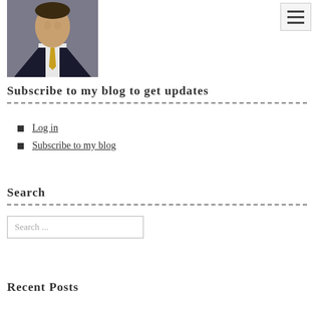[Figure (photo): Headshot of a man in a dark suit with a gold tie against a neutral background]
Subscribe to my blog to get updates
Log in
Subscribe to my blog
Search
Search ...
Recent Posts